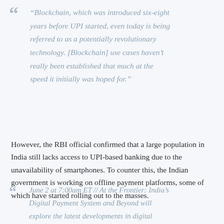“Blockchain, which was introduced six-eight years before UPI started, even today is being referred to as a potentially revolutionary technology. [Blockchain] use cases haven’t really been established that much at the speed it initially was hoped for.”
However, the RBI official confirmed that a large population in India still lacks access to UPI-based banking due to the unavailability of smartphones. To counter this, the Indian government is working on offline payment platforms, some of which have started rolling out to the masses.
June 2 at 7:00am ET // At the Frontier: India’s Digital Payment System and Beyond will explore the latest developments in digital